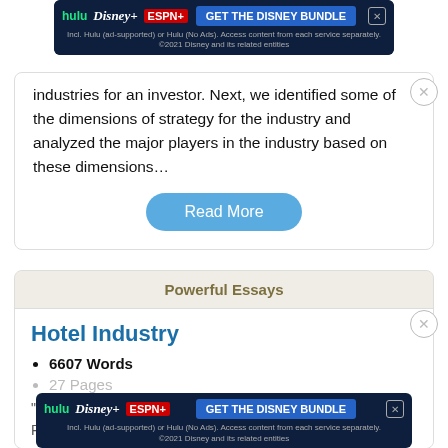industries for an investor. Next, we identified some of the dimensions of strategy for the industry and analyzed the major players in the industry based on these dimensions…
Read More
Powerful Essays
Hotel Industry
6607 Words
27 Pages
"Radh... University Newp... Professor Gary W. Lawson, DPA Non-disclosure and